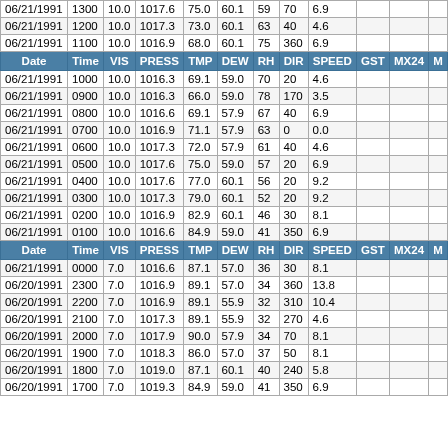| Date | Time | VIS | PRESS | TMP | DEW | RH | DIR | SPEED | GST | MX24 | M |
| --- | --- | --- | --- | --- | --- | --- | --- | --- | --- | --- | --- |
| 06/21/1991 | 1300 | 10.0 | 1017.6 | 75.0 | 60.1 | 59 | 70 | 6.9 |  |  |  |
| 06/21/1991 | 1200 | 10.0 | 1017.3 | 73.0 | 60.1 | 63 | 40 | 4.6 |  |  |  |
| 06/21/1991 | 1100 | 10.0 | 1016.9 | 68.0 | 60.1 | 75 | 360 | 6.9 |  |  |  |
| HEADER |  |  |  |  |  |  |  |  |  |  |  |
| 06/21/1991 | 1000 | 10.0 | 1016.3 | 69.1 | 59.0 | 70 | 20 | 4.6 |  |  |  |
| 06/21/1991 | 0900 | 10.0 | 1016.3 | 66.0 | 59.0 | 78 | 170 | 3.5 |  |  |  |
| 06/21/1991 | 0800 | 10.0 | 1016.6 | 69.1 | 57.9 | 67 | 40 | 6.9 |  |  |  |
| 06/21/1991 | 0700 | 10.0 | 1016.9 | 71.1 | 57.9 | 63 | 0 | 0.0 |  |  |  |
| 06/21/1991 | 0600 | 10.0 | 1017.3 | 72.0 | 57.9 | 61 | 40 | 4.6 |  |  |  |
| 06/21/1991 | 0500 | 10.0 | 1017.6 | 75.0 | 59.0 | 57 | 20 | 6.9 |  |  |  |
| 06/21/1991 | 0400 | 10.0 | 1017.6 | 77.0 | 60.1 | 56 | 20 | 9.2 |  |  |  |
| 06/21/1991 | 0300 | 10.0 | 1017.3 | 79.0 | 60.1 | 52 | 20 | 9.2 |  |  |  |
| 06/21/1991 | 0200 | 10.0 | 1016.9 | 82.9 | 60.1 | 46 | 30 | 8.1 |  |  |  |
| 06/21/1991 | 0100 | 10.0 | 1016.6 | 84.9 | 59.0 | 41 | 350 | 6.9 |  |  |  |
| HEADER |  |  |  |  |  |  |  |  |  |  |  |
| 06/21/1991 | 0000 | 7.0 | 1016.6 | 87.1 | 57.0 | 36 | 30 | 8.1 |  |  |  |
| 06/20/1991 | 2300 | 7.0 | 1016.9 | 89.1 | 57.0 | 34 | 360 | 13.8 |  |  |  |
| 06/20/1991 | 2200 | 7.0 | 1016.9 | 89.1 | 55.9 | 32 | 310 | 10.4 |  |  |  |
| 06/20/1991 | 2100 | 7.0 | 1017.3 | 89.1 | 55.9 | 32 | 270 | 4.6 |  |  |  |
| 06/20/1991 | 2000 | 7.0 | 1017.9 | 90.0 | 57.9 | 34 | 70 | 8.1 |  |  |  |
| 06/20/1991 | 1900 | 7.0 | 1018.3 | 86.0 | 57.0 | 37 | 50 | 8.1 |  |  |  |
| 06/20/1991 | 1800 | 7.0 | 1019.0 | 87.1 | 60.1 | 40 | 240 | 5.8 |  |  |  |
| 06/20/1991 | 1700 | 7.0 | 1019.3 | 84.9 | 59.0 | 41 | 350 | 6.9 |  |  |  |